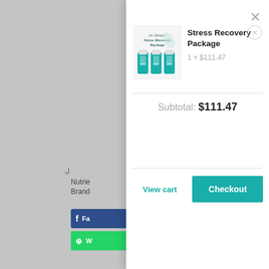[Figure (screenshot): Shopping cart modal overlay on a website. Shows a product 'Stress Recovery Package' with quantity 1 × $111.47. Subtotal: $111.47. Buttons: View cart and Checkout. Background shows partial page with social share buttons.]
×
[Figure (photo): Product image of Stress Recovery Package - three teal supplement bottles with branded label]
Stress Recovery Package
1 × $111.47
Subtotal: $111.47
View cart
Checkout
Nutrie
Brand
Fa
W